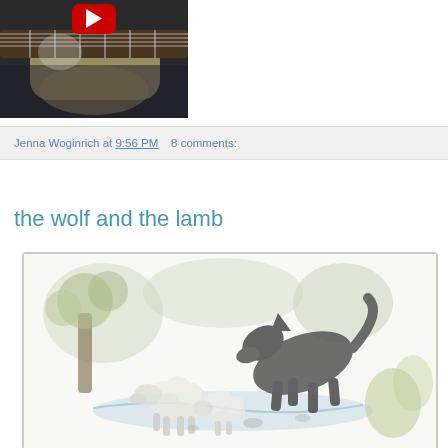[Figure (screenshot): YouTube video thumbnail showing a person playing a guitar/ukulele, with a red YouTube play button overlay in top-center]
Jenna Woginrich at 9:56 PM   8 comments:
the wolf and the lamb
[Figure (illustration): Black and white engraving illustration of a wolf and a lamb near a stream, surrounded by foliage — classic Aesop's Fables style art]